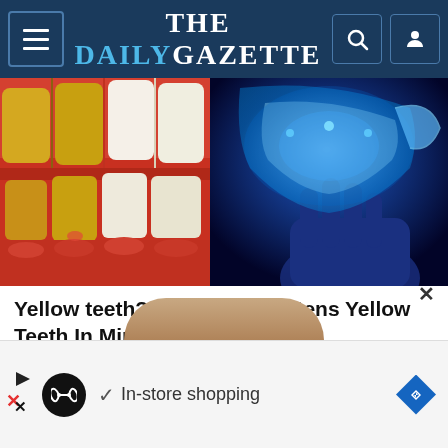THE DAILY GAZETTE
[Figure (photo): Split image: left side shows close-up of yellow and white teeth with red gums; right side shows a blue-lit dental whitening tray held by a hand.]
Yellow teeth? This Trick Whitens Yellow Teeth In Minutes!
[Figure (photo): Partial view of a man's face (top of head) and an advertisement banner showing an infinity-like logo, a checkmark with 'In-store shopping' text, and a blue diamond navigation icon.]